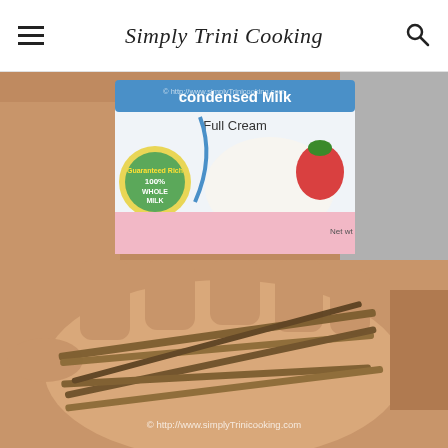Simply Trini Cooking
[Figure (photo): Close-up photo of a hand holding a can of condensed milk labeled 'Full Cream' with '100% Whole Milk' badge, strawberry and whipped cream imagery on label. Watermark: © http://www.simplyTrinicooking.com]
[Figure (photo): Close-up photo of a hand holding several dried vanilla pods or similar long dried spice sticks. Watermark: © http://www.simplyTrinicooking.com]